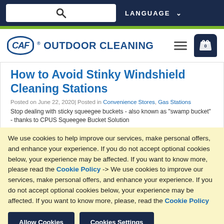LANGUAGE
[Figure (logo): CAF Outdoor Cleaning logo with oval CAF badge and text]
How to Avoid Stinky Windshield Cleaning Stations
Posted on June 22, 2020| Posted in Convenience Stores, Gas Stations
Stop dealing with sticky squeegee buckets - also known as "swamp bucket" - thanks to CPUS Squeegee Bucket Solution
We use cookies to help improve our services, make personal offers, and enhance your experience. If you do not accept optional cookies below, your experience may be affected. If you want to know more, please read the Cookie Policy -> We use cookies to improve our services, make personal offers, and enhance your experience. If you do not accept optional cookies below, your experience may be affected. If you want to know more, please, read the Cookie Policy
Allow Cookies | Cookies Settings